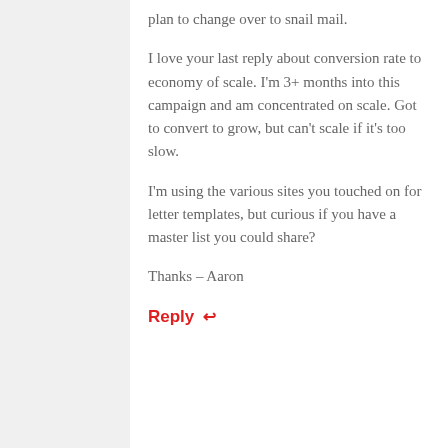plan to change over to snail mail.
I love your last reply about conversion rate to economy of scale. I'm 3+ months into this campaign and am concentrated on scale. Got to convert to grow, but can't scale if it's too slow.
I'm using the various sites you touched on for letter templates, but curious if you have a master list you could share?
Thanks – Aaron
Reply ↩